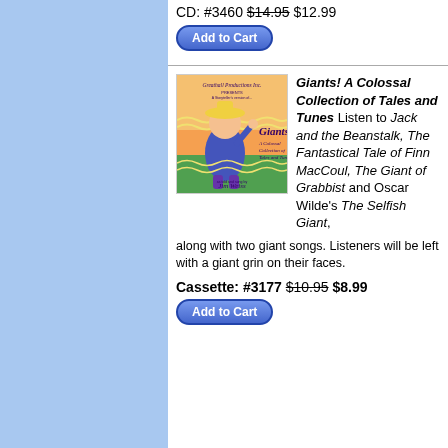CD: #3460 $14.95 $12.99
[Figure (other): Add to Cart button]
[Figure (illustration): Greathall Productions book/CD cover for Giants! A Colossal Collection of Tales and Tunes, illustrated with a character in blue/purple outfit, by Jim Weiss]
Giants! A Colossal Collection of Tales and Tunes Listen to Jack and the Beanstalk, The Fantastical Tale of Finn MacCoul, The Giant of Grabbist and Oscar Wilde's The Selfish Giant, along with two giant songs. Listeners will be left with a giant grin on their faces.
Cassette: #3177 $10.95 $8.99
[Figure (other): Add to Cart button]